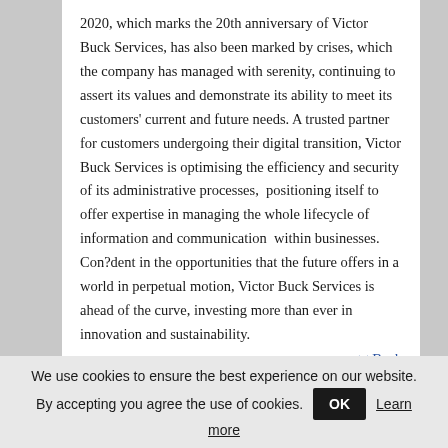2020, which marks the 20th anniversary of Victor Buck Services, has also been marked by crises, which the company has managed with serenity, continuing to assert its values and demonstrate its ability to meet its customers' current and future needs. A trusted partner for customers undergoing their digital transition, Victor Buck Services is optimising the efficiency and security of its administrative processes, positioning itself to offer expertise in managing the whole lifecycle of information and communication within businesses. Con?dent in the opportunities that the future offers in a world in perpetual motion, Victor Buck Services is ahead of the curve, investing more than ever in innovation and sustainability.
<< Back
26/10/2020 |
We use cookies to ensure the best experience on our website. By accepting you agree the use of cookies. OK Learn more